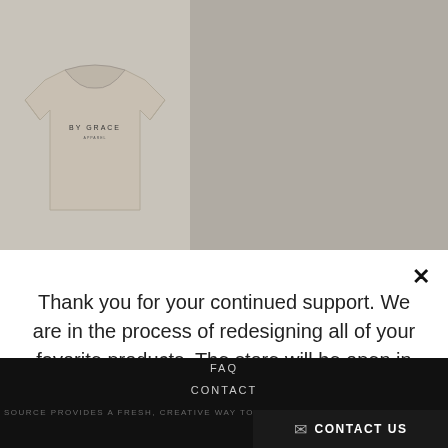[Figure (photo): A beige/tan crewneck sweatshirt with 'BY GRACE' text printed on the chest, displayed on a gray background]
Thank you for your continued support. We are in the process of redesigning all of your favorite products. The store will be open in early 2021.
FAQ
CONTACT
SOURCE PROVIDES A FRESH, CREATIVE WAY TO ENGAGE OUR CULTURE WITH THE G
✉ CONTACT US